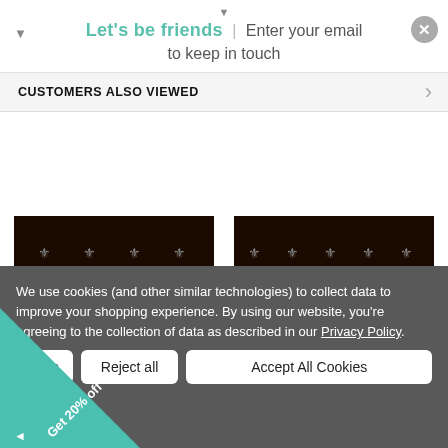Let's be friends | Enter your email to keep in touch
CUSTOMERS ALSO VIEWED
[Figure (photo): Two dark wood wall-mounted shelves with decorative metal hooks, shown side by side]
We use cookies (and other similar technologies) to collect data to improve your shopping experience. By using our website, you're agreeing to the collection of data as described in our Privacy Policy.
Reject all    Accept All Cookies